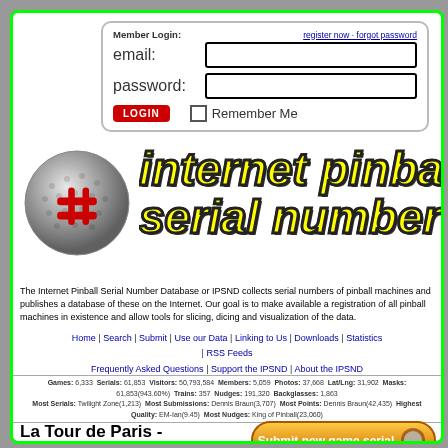[Figure (screenshot): Member login form with email, password fields, LOGIN button, Remember Me checkbox, and links for register now and forgot password]
[Figure (logo): Internet Pinball Serial Number Database logo with silver pinball and red hashtag symbol, and yellow italic title text 'internet pinball serial number']
The Internet Pinball Serial Number Database or IPSND collects serial numbers of pinball machines and publishes a database of these on the Internet. Our goal is to make available a registration of all pinball machines in existence and allow tools for slicing, dicing and visualization of the data.
Home | Search | Submit | Use our Data | Linking to Us | Downloads | Statistics | RSS Feeds
Frequently Asked Questions | Support the IPSND | About the IPSND
Games: 6,333 Serials: 61,853 Visitors: 50,793,584 Members: 5,059 Photos: 37,668 Lat/Lng: 31,902 Masks: 61,853(943.60%) Trains: 357 Nudges: 191,320 Backglasses: 1,863
Most Serials: Twilight Zone(1,213) Most Submissions: Dennis Braun(3,707) Most Points: Dennis Braun(42,435) Highest Quality: EM-Ian(9.45) Most Nudges: King of Pinball(23,060)
La Tour de Paris - IPSND/IPDB No. 5947 -
[Figure (infographic): Submit new game serial orange button]
[Figure (infographic): Submit game part serial orange button]
View this game at other Pin Sites